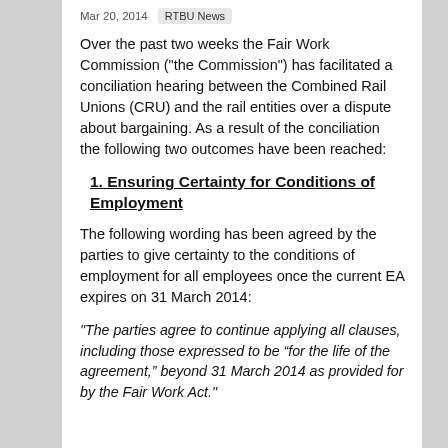Mar 20, 2014   RTBU News
Over the past two weeks the Fair Work Commission ("the Commission") has facilitated a conciliation hearing between the Combined Rail Unions (CRU) and the rail entities over a dispute about bargaining.  As a result of the conciliation the following two outcomes have been reached:
1. Ensuring Certainty for Conditions of Employment
The following wording has been agreed by the parties to give certainty to the conditions of employment for all employees once the current EA expires on 31 March 2014:
"The parties agree to continue applying all clauses, including those expressed to be “for the life of the agreement,” beyond 31 March 2014 as provided for by the Fair Work Act."